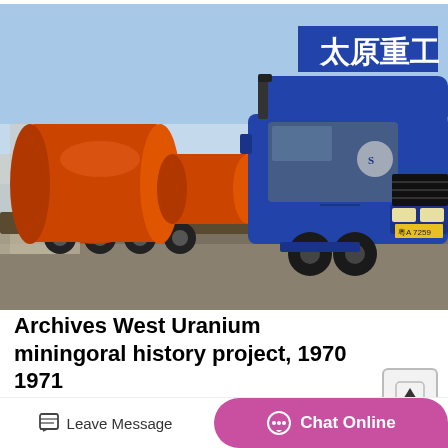[Figure (photo): A blue heavy truck (Taiyuan Heavy Industry branding with Chinese characters 太原重工) carrying large orange cylindrical industrial equipment on a flatbed trailer, parked on a road with a blue sky background.]
Archives West Uranium miningoral history project, 1970 1971
Duncan, an attorney, was interviewed by Mitch Haddad in Salt Lake City. Subjects:uranium miningindustry
Leave Message
Chat Online